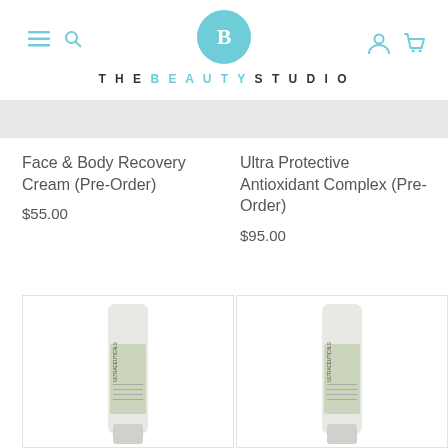THE BEAUTY STUDIO
Face & Body Recovery Cream (Pre-Order)
$55.00
Ultra Protective Antioxidant Complex (Pre-Order)
$95.00
[Figure (photo): Ultraceuticals product tube, left]
[Figure (photo): Ultraceuticals product tube, right]